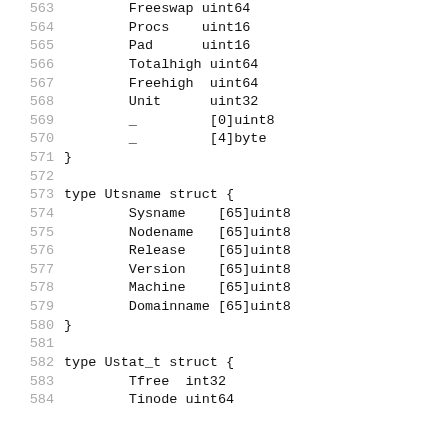563	Freeswap uint64
564	Procs    uint16
565	Pad      uint16
566	Totalhigh uint64
567	Freehigh  uint64
568	Unit      uint32
569	_         [0]uint8
570	_         [4]byte
571	}
572
573	type Utsname struct {
574		Sysname    [65]uint8
575		Nodename   [65]uint8
576		Release    [65]uint8
577		Version    [65]uint8
578		Machine    [65]uint8
579		Domainname [65]uint8
580	}
581
582	type Ustat_t struct {
583		Tfree  int32
584		Tinode uint64